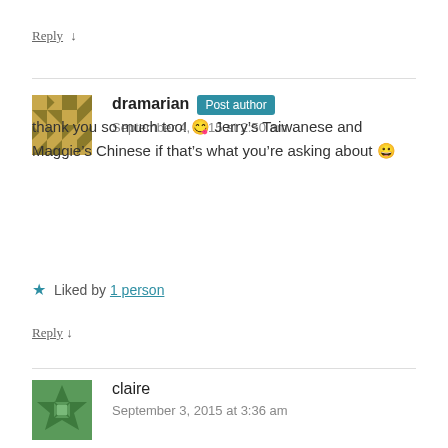Reply ↓
dramarian Post author
September 4, 2015 at 2:50 am
thank you so much too! 😉 Jerry's Taiwanese and Maggie's Chinese if that's what you're asking about 😀
★ Liked by 1 person
Reply ↓
claire
September 3, 2015 at 3:36 am